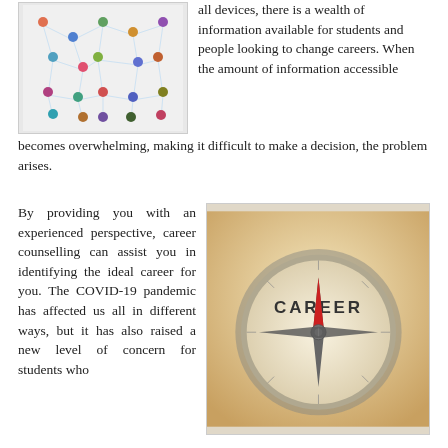[Figure (illustration): Network/social graph illustration showing many small people icons connected by lines, representing a social or professional network.]
all devices, there is a wealth of information available for students and people looking to change careers. When the amount of information accessible becomes overwhelming, making it difficult to make a decision, the problem arises.
By providing you with an experienced perspective, career counselling can assist you in identifying the ideal career for you. The COVID-19 pandemic has affected us all in different ways, but it has also raised a new level of concern for students who will be next year, and it may affect their career options.
[Figure (photo): A compass with the needle pointing to the word CAREER printed on the compass face, set against a warm golden background.]